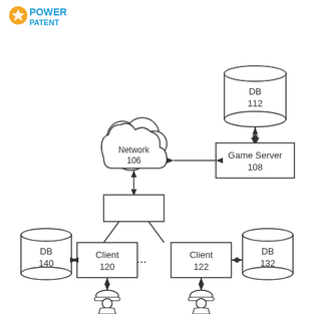[Figure (logo): PowerPatent logo with blue text and orange icon]
[Figure (network-graph): System architecture diagram showing DB 112 connected to Game Server 108, which connects bidirectionally to Network 106 (cloud). Network 106 connects down to two clients (Client 120 and Client 122) via a hub box. Client 120 connects to DB 140 and a user figure below. Client 122 connects to DB 132 and a user figure below. Ellipsis between clients indicates more clients.]